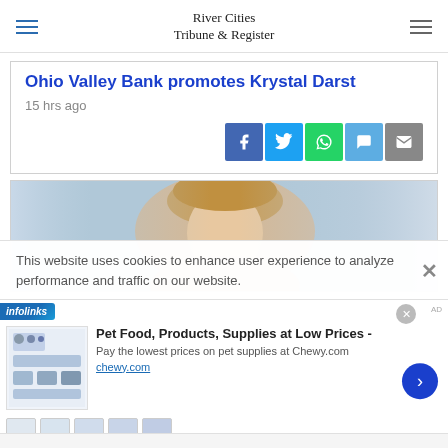River Cities Tribune & Register
Ohio Valley Bank promotes Krystal Darst
15 hrs ago
[Figure (screenshot): Social sharing buttons: Facebook, Twitter, WhatsApp, Chat, Email]
[Figure (photo): Photo of a blonde woman against a blue background — Krystal Darst]
This website uses cookies to enhance user experience to analyze performance and traffic on our website.
[Figure (screenshot): Advertisement for Chewy.com — Pet Food, Products, Supplies at Low Prices]
Pet Food, Products, Supplies at Low Prices -
Pay the lowest prices on pet supplies at Chewy.com
chewy.com